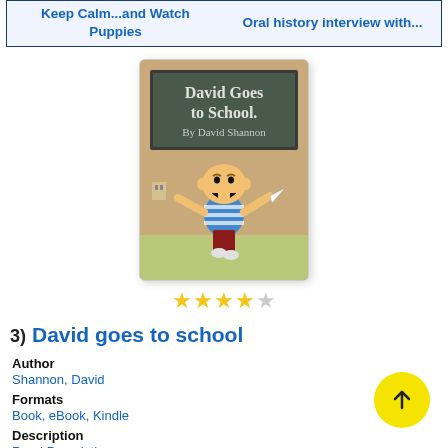Keep Calm...and Watch Puppies | Oral history interview with...
[Figure (photo): Book cover of 'David Goes to School' by David Shannon. Shows a cartoon boy with a round head, big smile, wearing a blue and white striped shirt and red pants, holding a paper airplane, in front of a chalkboard with the book title written on it.]
★★★★☆ (4 out of 5 stars)
3)  David goes to school
Author
Shannon, David
Formats
Book, eBook, Kindle
Description
Read Description...